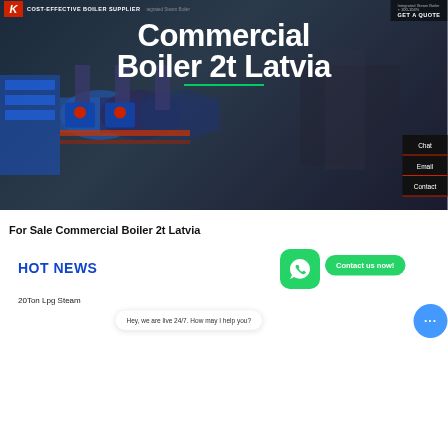[Figure (screenshot): Boiler supplier website hero banner with industrial boiler imagery and dark background]
Commercial Boiler 2t Latvia
For Sale Commercial Boiler 2t Latvia
HOT NEWS
20Ton Lpg Steam
Hey, we are live 24/7. How may I help you?